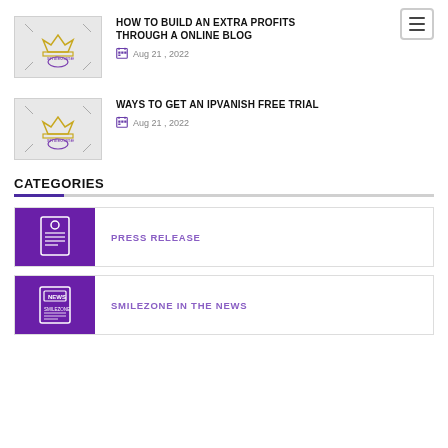HOW TO BUILD AN EXTRA PROFITS THROUGH A ONLINE BLOG
Aug 21 , 2022
WAYS TO GET AN IPVANISH FREE TRIAL
Aug 21 , 2022
CATEGORIES
PRESS RELEASE
SMILEZONE IN THE NEWS